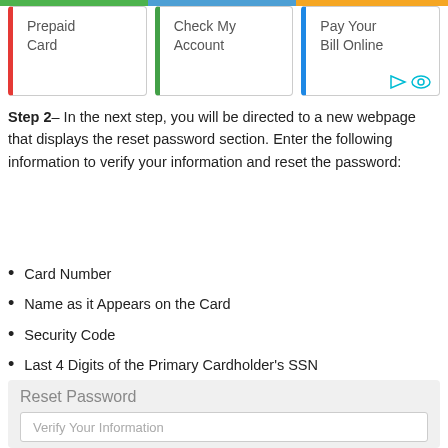[Figure (screenshot): Navigation bar with three cards: Prepaid Card (red left border), Check My Account (green left border), Pay Your Bill Online (blue left border)]
Step 2– In the next step, you will be directed to a new webpage that displays the reset password section. Enter the following information to verify your information and reset the password:
Card Number
Name as it Appears on the Card
Security Code
Last 4 Digits of the Primary Cardholder's SSN
[Figure (screenshot): Reset Password form box with 'Verify Your Information' input field]